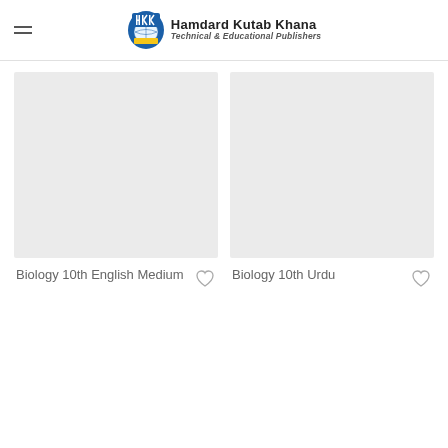Hamdard Kutab Khana — Technical & Educational Publishers
[Figure (other): Book cover placeholder — Biology 10th English Medium]
Biology 10th English Medium
[Figure (other): Book cover placeholder — Biology 10th Urdu]
Biology 10th Urdu